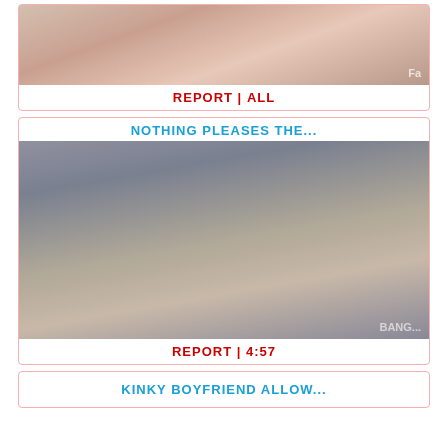[Figure (photo): Thumbnail image of adult video content with watermark 'Fa']
REPORT | ALL
NOTHING PLEASES THE...
[Figure (photo): Thumbnail image of adult video content with watermark 'BANG...']
REPORT | 4:57
KINKY BOYFRIEND ALLOW...